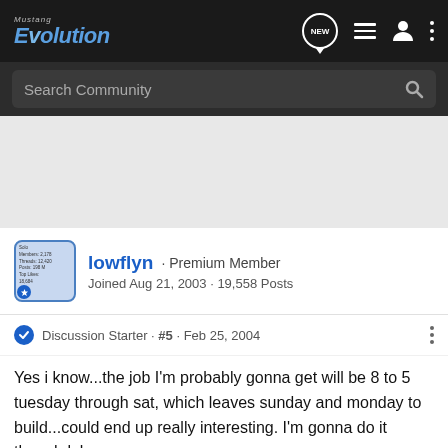Mustang Evolution — Search Community navigation bar
Search Community
lowflyn · Premium Member
Joined Aug 21, 2003 · 19,558 Posts
Discussion Starter · #5 · Feb 25, 2004
Yes i know...the job I'm probably gonna get will be 8 to 5 tuesday through sat, which leaves sunday and monday to build...could end up really interesting. I'm gonna do it though lol.